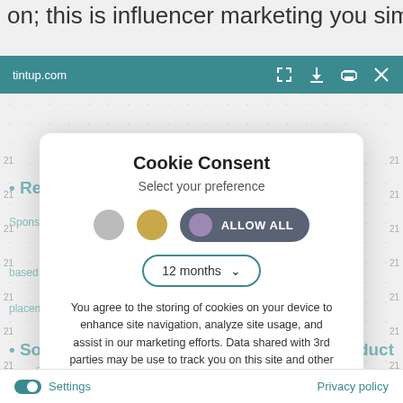on; this is influencer marketing you simply cannot
[Figure (screenshot): Browser toolbar showing tintup.com URL with icons for expand, download, print, and close on a teal background]
Cookie Consent
Select your preference
[Figure (screenshot): Cookie preference controls: gray circle, gold circle, and Allow All toggle button with purple circle on dark background]
[Figure (screenshot): Dropdown selector showing 12 months with chevron arrow, outlined in teal]
You agree to the storing of cookies on your device to enhance site navigation, analyze site usage, and assist in our marketing efforts. Data shared with 3rd parties may be use to track you on this site and other sites you visit.
[Figure (screenshot): Save my preferences button, rounded pill shape in dark teal]
[Figure (screenshot): Bottom bar with Settings toggle (teal) on left and Privacy policy link on right]